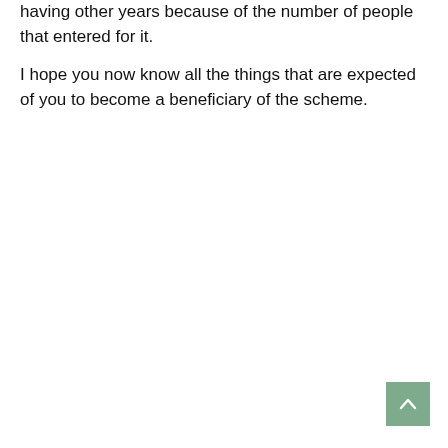having other years because of the number of people that entered for it.

I hope you now know all the things that are expected of you to become a beneficiary of the scheme.